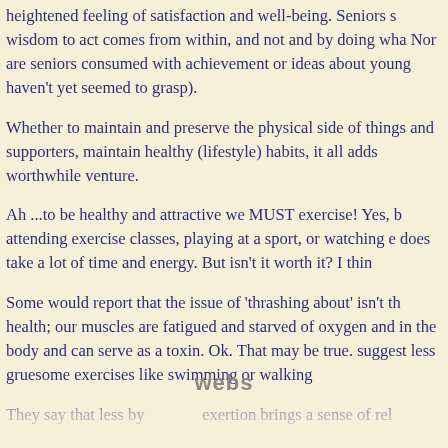heightened feeling of satisfaction and well-being. Seniors s wisdom to act comes from within, and not and by doing wha Nor are seniors consumed with achievement or ideas about young haven't yet seemed to grasp).
Whether to maintain and preserve the physical side of things and supporters, maintain healthy (lifestyle) habits, it all adds worthwhile venture.
Ah ...to be healthy and attractive we MUST exercise! Yes, b attending exercise classes, playing at a sport, or watching e does take a lot of time and energy. But isn't it worth it? I thin
Some would report that the issue of 'thrashing about' isn't th health; our muscles are fatigued and starved of oxygen and in the body and can serve as a toxin. Ok. That may be true. suggest less gruesome exercises like swimming or walking
They say that less by exertion brings a sense of rel
[Figure (logo): Webs watermark logo in grey]